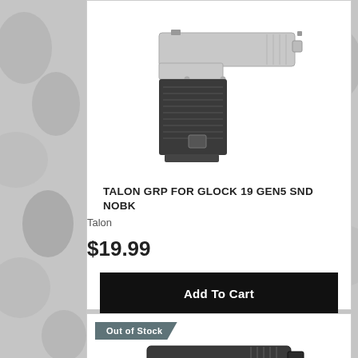[Figure (photo): A Glock 19 Gen5 pistol shown in light gray/silver color with a black Talon grip applied to the handle. The gun is shown at a slight angle on a white background.]
TALON GRP FOR GLOCK 19 GEN5 SND NOBK
Talon
$19.99
Add To Cart
Out of Stock
[Figure (photo): Partial view of a dark/black pistol shown at an angle, partially visible at the bottom of the page.]